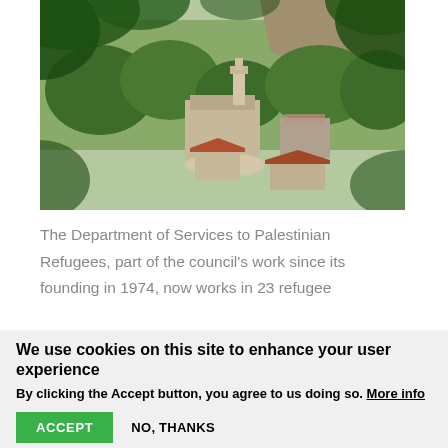[Figure (photo): Aerial view of a Middle Eastern village or town seen through foliage, with stone buildings, a church or mosque tower, trees, and hillside in background]
The Department of Services to Palestinian Refugees, part of the council's work since its founding in 1974, now works in 23 refugee
We use cookies on this site to enhance your user experience
By clicking the Accept button, you agree to us doing so. More info
ACCEPT
NO, THANKS